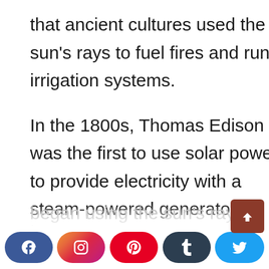that ancient cultures used the sun's rays to fuel fires and run irrigation systems.
In the 1800s, Thomas Edison was the first to use solar power to provide electricity with a steam-powered generator. In the early 1900s, Nikola Tesla began using the sun's rays to
[Figure (other): Social media sharing buttons bar at the bottom: Facebook (blue), Instagram (gradient), Pinterest (red), Tumblr (dark), Twitter (light blue). A brown back-to-top arrow button on the right side.]